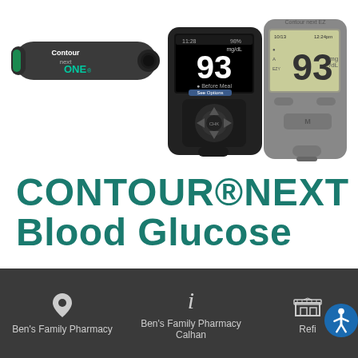[Figure (photo): Contour Next ONE blood glucose meter (small oblong device) on the left, and two larger Contour Next blood glucose meters on the right showing readings of 93 mg/dL]
CONTOUR®NEXT Blood Glucose
Ben's Family Pharmacy
Ben's Family Pharmacy Calhan
Refi